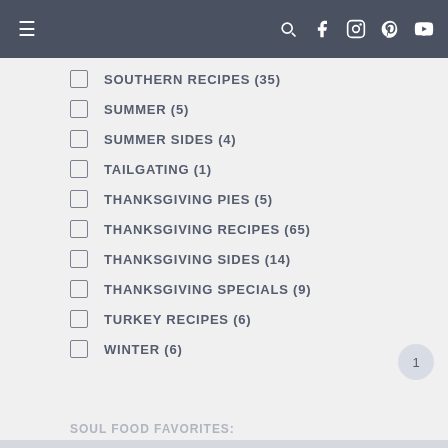Navigation bar with hamburger menu and social icons
SOUTHERN RECIPES (35)
SUMMER (5)
SUMMER SIDES (4)
TAILGATING (1)
THANKSGIVING PIES (5)
THANKSGIVING RECIPES (65)
THANKSGIVING SIDES (14)
THANKSGIVING SPECIALS (9)
TURKEY RECIPES (6)
WINTER (6)
SOUL FOOD FAVORITES: